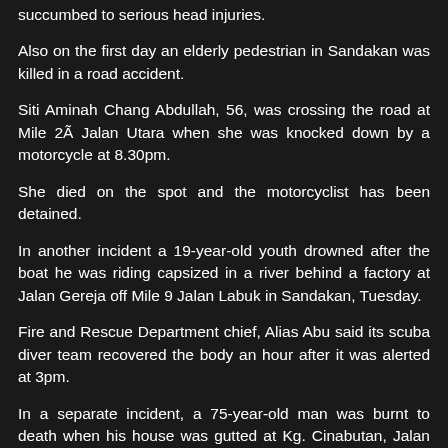succumbed to serious head injuries.
Also on the first day an elderly pedestrian in Sandakan was killed in a road accident.
Siti Aminah Chang Abdullah, 56, was crossing the road at Mile 2Ã Jalan Utara when she was knocked down by a motorcycle at 8.30pm.
She died on the spot and the motorcyclist has been detained.
In another incident a 19-year-old youth drowned after the boat he was riding capsized in a river behind a factory at Jalan Gereja off Mile 9 Jalan Labuk in Sandakan, Tuesday.
Fire and Rescue Department chief, Alias Abu said its scuba diver team recovered the body an hour after it was alerted at 3pm.
In a separate incident, a 75-year-old man was burnt to death when his house was gutted at Kg. Cinabutan, Jalan Sapi Nangon the eve of Chinese New Year.